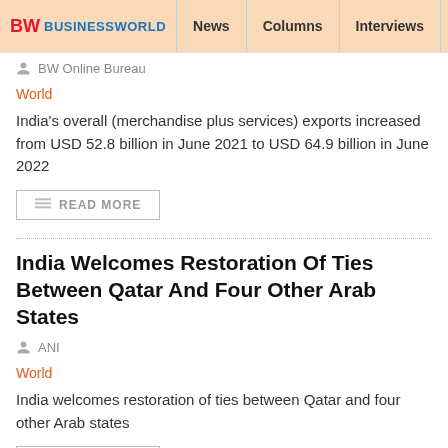BW BUSINESSWORLD | News | Columns | Interviews | BW
BW Online Bureau
World
India's overall (merchandise plus services) exports increased from USD 52.8 billion in June 2021 to USD 64.9 billion in June 2022
READ MORE
India Welcomes Restoration Of Ties Between Qatar And Four Other Arab States
ANI
World
India welcomes restoration of ties between Qatar and four other Arab states
READ MORE